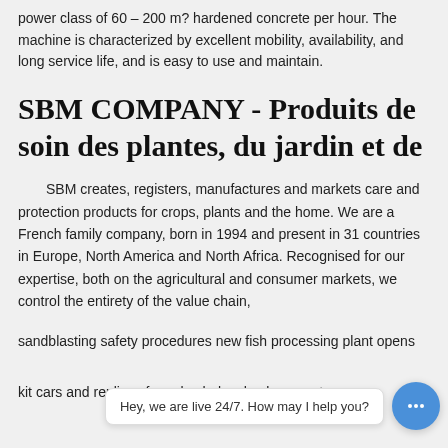power class of 60 – 200 m? hardened concrete per hour. The machine is characterized by excellent mobility, availability, and long service life, and is easy to use and maintain.
SBM COMPANY - Produits de soin des plantes, du jardin et de
SBM creates, registers, manufactures and markets care and protection products for crops, plants and the home. We are a French family company, born in 1994 and present in 31 countries in Europe, North America and North Africa. Recognised for our expertise, both on the agricultural and consumer markets, we control the entirety of the value chain,
sandblasting safety procedures new fish processing plant opens
kit cars and replicas for sale shake shack concrete